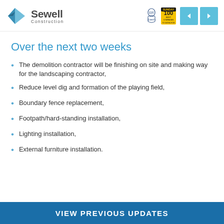Sewell Construction
Over the next two weeks
The demolition contractor will be finishing on site and making way for the landscaping contractor,
Reduce level dig and formation of the playing field,
Boundary fence replacement,
Footpath/hard-standing installation,
Lighting installation,
External furniture installation.
VIEW PREVIOUS UPDATES